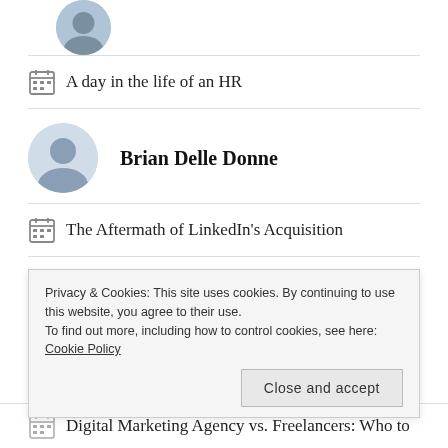[Figure (photo): Circular avatar photo of a person at the top of the page]
A day in the life of an HR
[Figure (photo): Circular avatar photo of Brian Delle Donne]
Brian Delle Donne
The Aftermath of LinkedIn's Acquisition
[Figure (photo): Circular avatar photo of Ben Slater]
Ben Slater
4 Tactics to Create an Awesome Company Culture
Privacy & Cookies: This site uses cookies. By continuing to use this website, you agree to their use.
To find out more, including how to control cookies, see here: Cookie Policy
Close and accept
Digital Marketing Agency vs. Freelancers: Who to